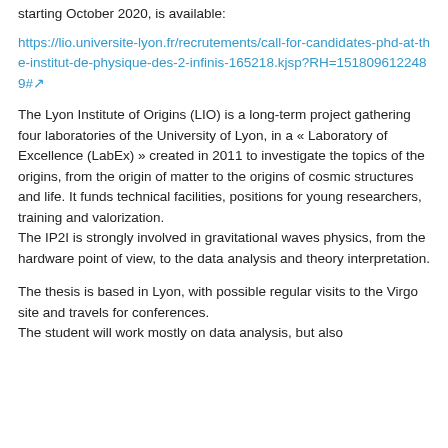starting October 2020, is available:
https://lio.universite-lyon.fr/recrutements/call-for-candidates-phd-at-the-institut-de-physique-des-2-infinis-165218.kjsp?RH=1518096122489#
The Lyon Institute of Origins (LIO) is a long-term project gathering four laboratories of the University of Lyon, in a « Laboratory of Excellence (LabEx) » created in 2011 to investigate the topics of the origins, from the origin of matter to the origins of cosmic structures and life. It funds technical facilities, positions for young researchers, training and valorization.
The IP2I is strongly involved in gravitational waves physics, from the hardware point of view, to the data analysis and theory interpretation.
The thesis is based in Lyon, with possible regular visits to the Virgo site and travels for conferences.
The student will work mostly on data analysis, but also participate to Virgo hardware and operate the activities, and